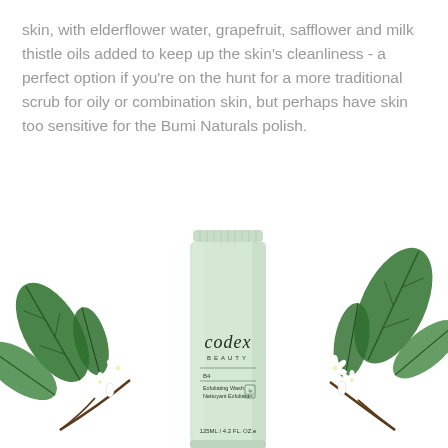skin, with elderflower water, grapefruit, safflower and milk thistle oils added to keep up the skin's cleanliness - a perfect option if you're on the hunt for a more traditional scrub for oily or combination skin, but perhaps have skin too sensitive for the Bumi Naturals polish.
[Figure (photo): A light mint green tube of Codex Beauty Exfoliating Wash / Nettoyant Exfoliant (125ml / 4.2 fl oz), standing upright, flanked by green leaves and white flower blossoms on a white background.]